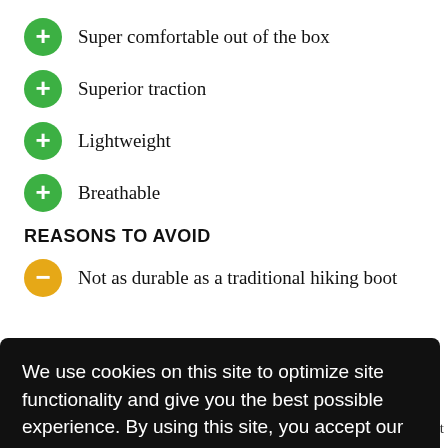Super comfortable out of the box
Superior traction
Lightweight
Breathable
REASONS TO AVOID
Not as durable as a traditional hiking boot
We use cookies on this site to optimize site functionality and give you the best possible experience. By using this site, you accept our use of cookies. Learn more
variety of surfaces, from loose sand to boulder hopping.